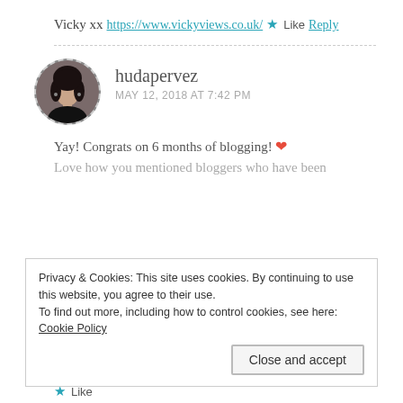Vicky xx
https://www.vickyviews.co.uk/
★ Like
Reply
hudapervez
MAY 12, 2018 AT 7:42 PM
Yay! Congrats on 6 months of blogging! ❤
Love how you mentioned bloggers who have been
Privacy & Cookies: This site uses cookies. By continuing to use this website, you agree to their use.
To find out more, including how to control cookies, see here: Cookie Policy
Close and accept
★ Like